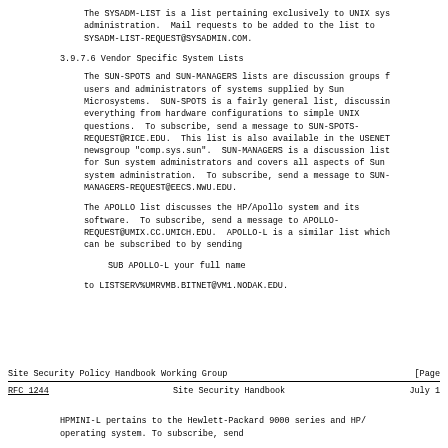The SYSADM-LIST is a list pertaining exclusively to UNIX sys administration.  Mail requests to be added to the list to SYSADM-LIST-REQUEST@SYSADMIN.COM.
3.9.7.6  Vendor Specific System Lists
The SUN-SPOTS and SUN-MANAGERS lists are discussion groups f users and administrators of systems supplied by Sun Microsystems.  SUN-SPOTS is a fairly general list, discussin everything from hardware configurations to simple UNIX questions.  To subscribe, send a message to SUN-SPOTS-REQUEST@RICE.EDU.  This list is also available in the USENET newsgroup "comp.sys.sun".  SUN-MANAGERS is a discussion list for Sun system administrators and covers all aspects of Sun system administration.  To subscribe, send a message to SUN-MANAGERS-REQUEST@EECS.NWU.EDU.
The APOLLO list discusses the HP/Apollo system and its software.  To subscribe, send a message to APOLLO-REQUEST@UMIX.CC.UMICH.EDU.  APOLLO-L is a similar list which can be subscribed to by sending
SUB APOLLO-L your full name
to LISTSERV%UMRVMB.BITNET@VM1.NODAK.EDU.
Site Security Policy Handbook Working Group                        [Page
RFC 1244                Site Security Handbook             July 1
HPMINI-L pertains to the Hewlett-Packard 9000 series and HP/ operating system.  To subscribe, send